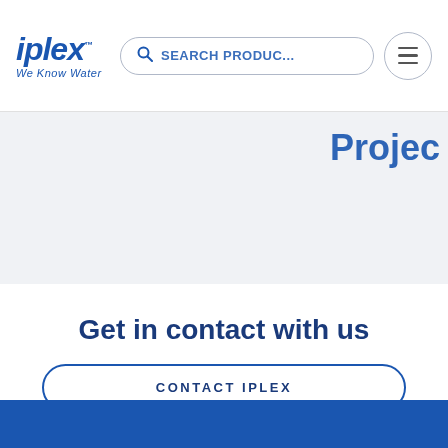iplex™ We Know Water | SEARCH PRODUC... [search bar] [menu]
Projec
Get in contact with us
CONTACT IPLEX